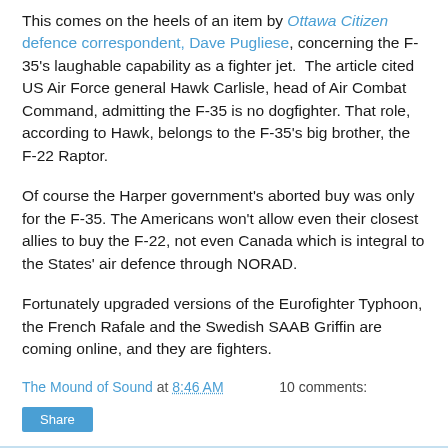This comes on the heels of an item by Ottawa Citizen defence correspondent, Dave Pugliese, concerning the F-35's laughable capability as a fighter jet.  The article cited US Air Force general Hawk Carlisle, head of Air Combat Command, admitting the F-35 is no dogfighter. That role, according to Hawk, belongs to the F-35's big brother, the F-22 Raptor.
Of course the Harper government's aborted buy was only for the F-35. The Americans won't allow even their closest allies to buy the F-22, not even Canada which is integral to the States' air defence through NORAD.
Fortunately upgraded versions of the Eurofighter Typhoon, the French Rafale and the Swedish SAAB Griffin are coming online, and they are fighters.
The Mound of Sound at 8:46 AM    10 comments: